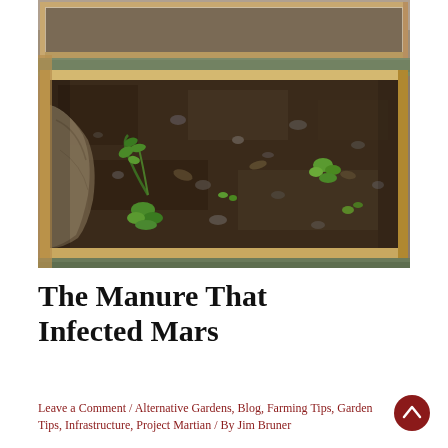[Figure (photo): Overhead photograph of a raised garden bed with wooden frame, showing dark soil with small green seedlings and plants, rocks scattered throughout, with burlap fabric visible on the left side. Another raised bed is partially visible in the upper portion of the image.]
The Manure That Infected Mars
Leave a Comment / Alternative Gardens, Blog, Farming Tips, Garden Tips, Infrastructure, Project Martian / By Jim Bruner